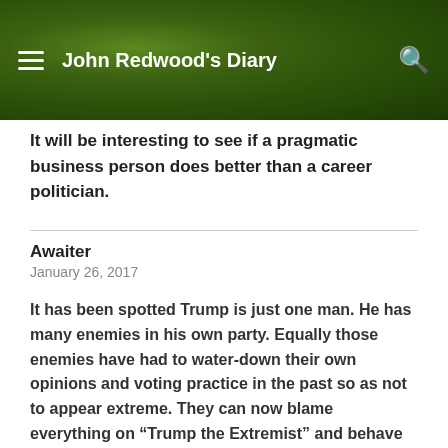John Redwood's Diary
It will be interesting to see if a pragmatic business person does better than a career politician.
Awaiter
January 26, 2017
It has been spotted Trump is just one man. He has many enemies in his own party. Equally those enemies have had to water-down their own opinions and voting practice in the past so as not to appear extreme. They can now blame everything on “Trump the Extremist” and behave honestly in voting. So we’ll see how the cake has turned out in a year or so.